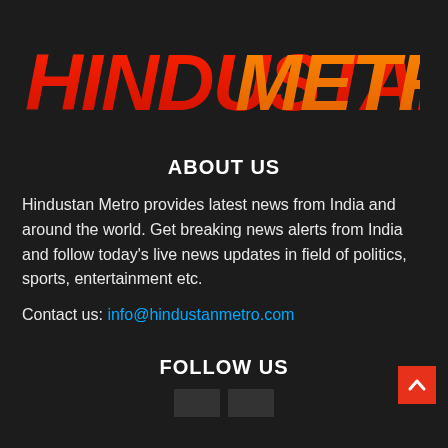[Figure (logo): Hindustan Metro logo in bold italic red and orange font on dark background]
ABOUT US
Hindustan Metro provides latest news from India and around the world. Get breaking news alerts from India and follow today's live news updates in field of politics, sports, entertainment etc.
Contact us: info@hindustanmetro.com
FOLLOW US